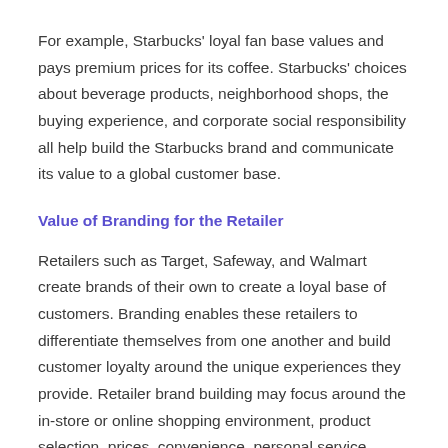For example, Starbucks' loyal fan base values and pays premium prices for its coffee. Starbucks' choices about beverage products, neighborhood shops, the buying experience, and corporate social responsibility all help build the Starbucks brand and communicate its value to a global customer base.
Value of Branding for the Retailer
Retailers such as Target, Safeway, and Walmart create brands of their own to create a loyal base of customers. Branding enables these retailers to differentiate themselves from one another and build customer loyalty around the unique experiences they provide. Retailer brand building may focus around the in-store or online shopping environment, product selection, prices, convenience, personal service, customer promotions,